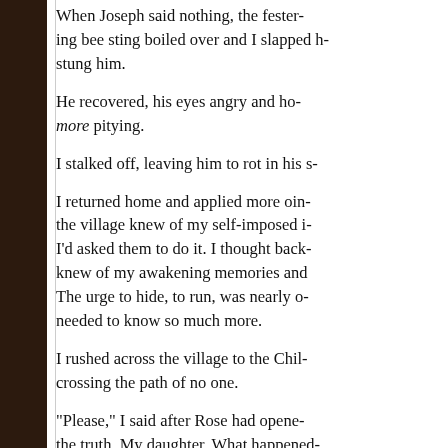When Joseph said nothing, the festering bee sting boiled over and I slapped him. It stung him.
He recovered, his eyes angry and horribly, more pitying.
I stalked off, leaving him to rot in his s...
I returned home and applied more oin... the village knew of my self-imposed i... I'd asked them to do it. I thought back... knew of my awakening memories and... The urge to hide, to run, was nearly o... needed to know so much more.
I rushed across the village to the Chil... crossing the path of no one.
"Please," I said after Rose had opene... the truth. My daughter. What happened...
Rose's expression softened.
My hands shook. "I don't need your p...
"Susanna. Dear." Rose sat in an uphe... worrying the hem of her blue dress, e... "Please listen to me," Rose said. "I'll a... be, but I'm going to ask you a favor --